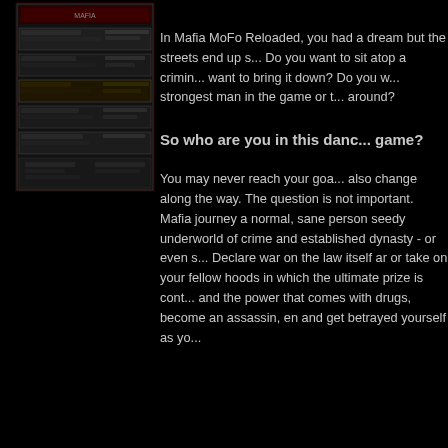[Figure (screenshot): Screenshot of Mafia MoFo Reloaded game interface showing dark themed menus and control panels]
In Mafia MoFo Reloaded, you had a dream but the streets end up s... Do you want to sit atop a crimin... want to bring it down? Do you w... strongest man in the game or t... around?
So who are you in this danc... game?
You may never reach your goa... also change along the way. The question is not important. Mafia journey a normal, sane person seedy underworld of crime and established dynasty - or even s... Declare war on the law itself ar or take on your fellow hoods in which the ultimate prize is cont... and the power that comes with drugs, become an assassin, en and get betrayed yourself as yo...